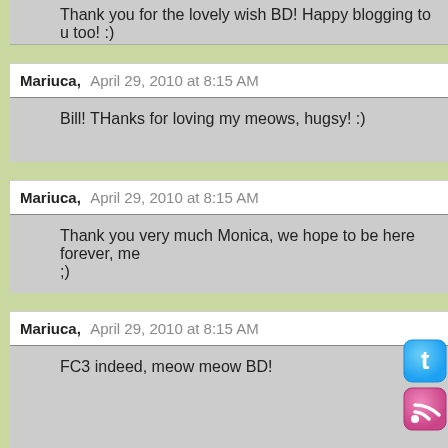Thank you for the lovely wish BD! Happy blogging to u too! :)
Mariuca,  April 29, 2010 at 8:15 AM
Bill! THanks for loving my meows, hugsy! :)
Mariuca,  April 29, 2010 at 8:15 AM
Thank you very much Monica, we hope to be here forever, me ;)
Mariuca,  April 29, 2010 at 8:15 AM
FC3 indeed, meow meow BD!
Mariuca,  April 29, 2010 at 8:16 AM
Ha ha tenkiu sweetie, syabas to meows! :)